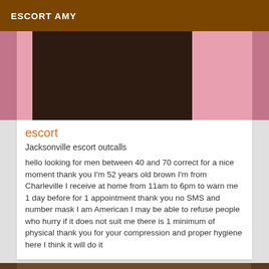ESCORT AMY
[Figure (photo): Partial body photo with pink background, dark foreground figure]
escort
Jacksonville escort outcalls
hello looking for men between 40 and 70 correct for a nice moment thank you I'm 52 years old brown I'm from Charleville I receive at home from 11am to 6pm to warn me 1 day before for 1 appointment thank you no SMS and number mask I am American I may be able to refuse people who hurry if it does not suit me there is 1 minimum of physical thank you for your compression and proper hygiene here I think it will do it
[Figure (photo): Partial photo at bottom of page, brown tones]